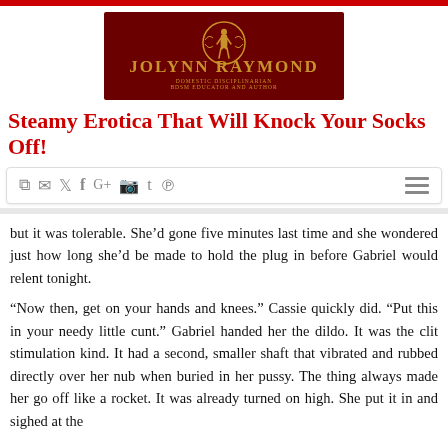[Figure (logo): Jolynn Raymond logo — dark red background with gold ornamental figure in a circle, gold text reading JOLYNN RAYMOND, subtitle DOMESTIC DISCIPLINARIAN, BDSM EDUCATOR AND AUTHOR]
Steamy Erotica That Will Knock Your Socks Off!
[Figure (screenshot): Navigation bar with social media icons: RSS, email, Twitter, Facebook, Google+, Instagram, Tumblr, Pinterest, and a hamburger menu icon]
but it was tolerable. She’d gone five minutes last time and she wondered just how long she’d be made to hold the plug in before Gabriel would relent tonight.

“Now then, get on your hands and knees.” Cassie quickly did. “Put this in your needy little cunt.” Gabriel handed her the dildo. It was the clit stimulation kind. It had a second, smaller shaft that vibrated and rubbed directly over her nub when buried in her pussy. The thing always made her go off like a rocket. It was already turned on high. She put it in and sighed at the